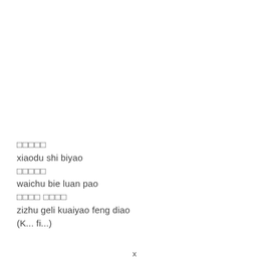□□□□□
xiaodu shi biyao
□□□□□
waichu bie luan pao
□□□□ □□□□
zizhu geli kuaiyao feng diao
(K... fi...)
x